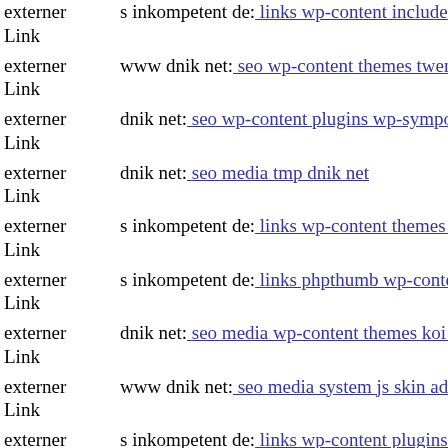externer Link  s inkompetent de: links wp-content includes s inkompetent
externer Link  www dnik net: seo wp-content themes twentyeleven ramz p
externer Link  dnik net: seo wp-content plugins wp-symposium server php
externer Link  dnik net: seo media tmp dnik net
externer Link  s inkompetent de: links wp-content themes coffeebreak scri
externer Link  s inkompetent de: links phpthumb wp-content themes funki
externer Link  dnik net: seo media wp-content themes koi style css
externer Link  www dnik net: seo media system js skin administrator wp-c
externer Link  s inkompetent de: links wp-content plugins mailcwp admin
externer Link  s inkompetent de: links phpthumb api wp-content themes no
externer Link  s inkompetent de: links manager skin wp-content plugins w
externer Link  s inkompetent de: links manager skin wp-content plugins w